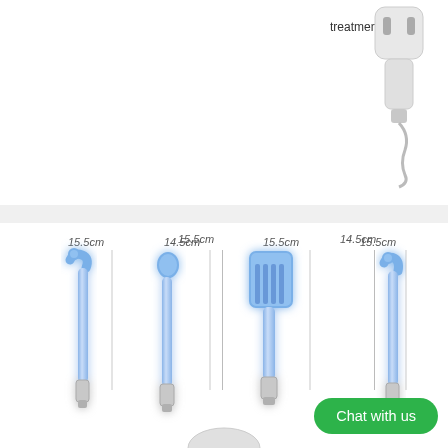treatments
④Comb for scalp, thinning hair areas
[Figure (illustration): White electrical device/plug with cord on upper right]
[Figure (illustration): Four blue glowing electrode wand attachments with measurement lines: hook/bent tip (15.5cm), ball/spoon tip (14.5cm), comb tip (15.5cm), and bent spoon tip (15.5cm). Each has a silver metal base connector.]
Chat with us
[Figure (illustration): Partial view of white device at bottom center]